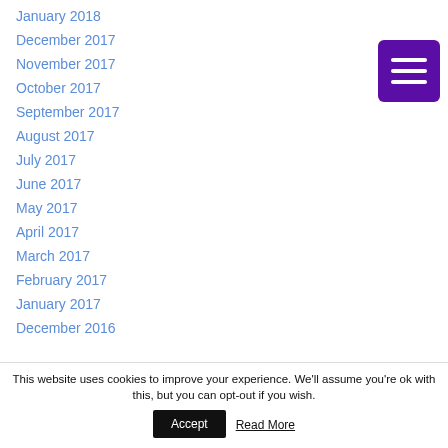January 2018
December 2017
November 2017
October 2017
September 2017
August 2017
July 2017
June 2017
May 2017
April 2017
March 2017
February 2017
January 2017
December 2016
[Figure (other): Purple hamburger menu button with three white horizontal bars]
This website uses cookies to improve your experience. We'll assume you're ok with this, but you can opt-out if you wish.
Accept
Read More